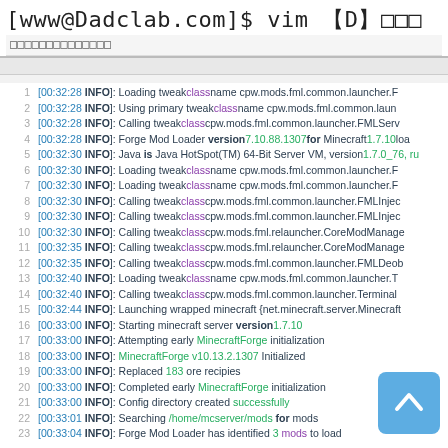[www@Dadclab.com]$ vim 〈D〉〈〉〈〉〈〉
〈〉〈〉〈〉〈〉〈〉〈〉〈〉〈〉〈〉〈〉〈〉〈〉〈〉〈〉
Log lines 1-23 showing Minecraft server startup log with timestamps, INFO level, and class names